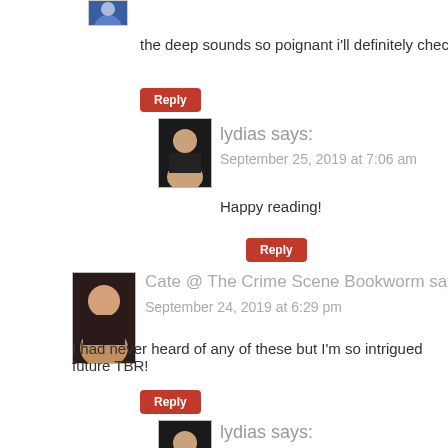[Figure (photo): Small avatar image at top, partially visible]
the deep sounds so poignant i'll definitely check that
Reply
[Figure (photo): Avatar photo of lydias]
lydias says:
September 25, 2019 at 7:06 am
Happy reading!
Reply
Cate @ The Crime Scene Bookworm says:
September 24, 2019 at 6:29 pm
[Figure (photo): Avatar photo of Cate]
I had never heard of any of these but I'm so intrigued future TBR!
Reply
[Figure (photo): Avatar photo of lydias]
lydias says:
September 25, 2019 at 7:07 am
That's awesome. Enjoy!
Reply